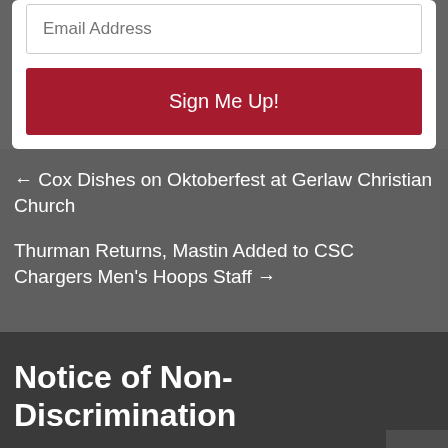Email Address
Sign Me Up!
← Cox Dishes on Oktoberfest at Gerlaw Christian Church
Thurman Returns, Mastin Added to CSC Chargers Men's Hoops Staff →
Notice of Non-Discrimination